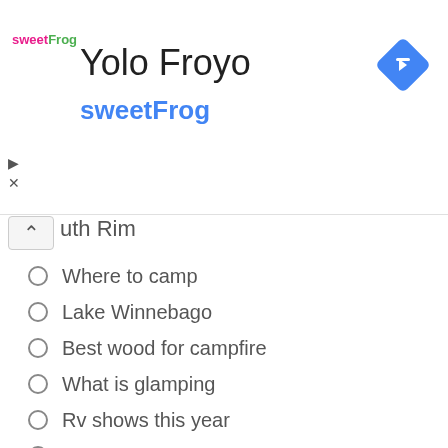[Figure (screenshot): SweetFrog advertisement banner with logo, title 'Yolo Froyo', subtitle 'sweetFrog', and navigation arrow icon]
uth Rim
Where to camp
Lake Winnebago
Best wood for campfire
What is glamping
Rv shows this year
Camping at zion national park
Rv Floor Plans
Rv Shows on TV
Can chiggers stay in your clothes
Rv Rentals Guide
Lake of the woods campground
Camping at the South Rim
Best campgrounds in Texas
10 Best Rv for gas mileage
Benefits of a rooftop tent